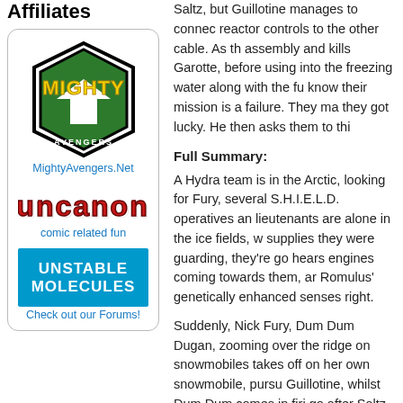Affiliates
[Figure (logo): Mighty Avengers logo - hexagonal black and white shape with green and gold 'MIGHTY AVENGERS' text]
MightyAvengers.Net
[Figure (logo): Uncanon logo - red 3D graffiti style lettering]
comic related fun
[Figure (logo): Unstable Molecules logo - blue background with white bold text]
Check out our Forums!
Saltz, but Guillotine manages to connect reactor controls to the other cable. As the assembly and kills Garotte, before using into the freezing water along with the fu know their mission is a failure. They ma they got lucky. He then asks them to thi
Full Summary:
A Hydra team is in the Arctic, looking fo Fury, several S.H.I.E.L.D. operatives an lieutenants are alone in the ice fields, w supplies they were guarding, they're go hears engines coming towards them, a Romulus' genetically enhanced senses right.
Suddenly, Nick Fury, Dum Dum Dugan, zooming over the ridge on snowmobiles takes off on her own snowmobile, pursu Guillotine, whilst Dum Dum comes in firi go after Saltz. Gunfire rings out across t separated from one another.